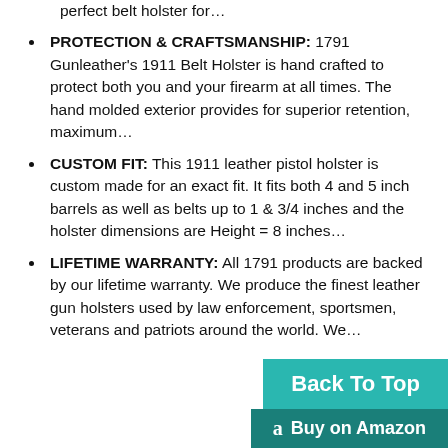perfect belt holster for…
PROTECTION & CRAFTSMANSHIP: 1791 Gunleather's 1911 Belt Holster is hand crafted to protect both you and your firearm at all times. The hand molded exterior provides for superior retention, maximum…
CUSTOM FIT: This 1911 leather pistol holster is custom made for an exact fit. It fits both 4 and 5 inch barrels as well as belts up to 1 & 3/4 inches and the holster dimensions are Height = 8 inches…
LIFETIME WARRANTY: All 1791 products are backed by our lifetime warranty. We produce the finest leather gun holsters used by law enforcement, sportsmen, veterans and patriots around the world. We…
Back To Top
Buy on Amazon